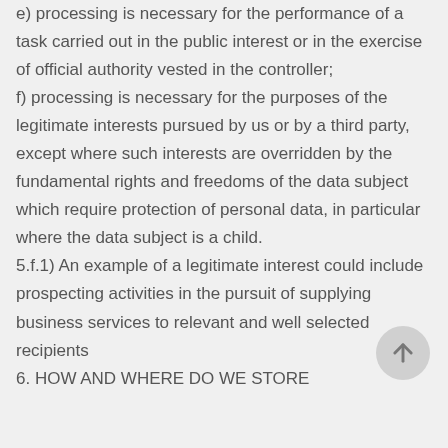e) processing is necessary for the performance of a task carried out in the public interest or in the exercise of official authority vested in the controller;
f) processing is necessary for the purposes of the legitimate interests pursued by us or by a third party, except where such interests are overridden by the fundamental rights and freedoms of the data subject which require protection of personal data, in particular where the data subject is a child.
5.f.1) An example of a legitimate interest could include prospecting activities in the pursuit of supplying business services to relevant and well selected recipients
6. HOW AND WHERE DO WE STORE YOUR DATA?